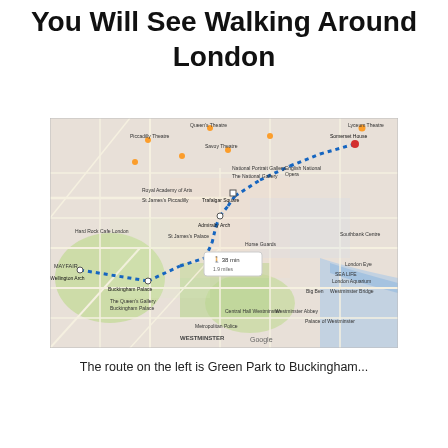You Will See Walking Around London
[Figure (map): Google Maps screenshot showing a walking route in central London (blue dotted line) from Buckingham Palace/Wellington Arch area through Admiralty Arch and Trafalgar Square to Somerset House area. The map shows landmarks including Mayfair, Westminster, National Gallery, Horse Guards, London Eye, SEA LIFE London Aquarium, Westminster Bridge, Westminster Abbey, Buckingham Palace, The Queen's Gallery, Hard Rock Cafe London, St James's Park, Big Ben, and others. A walking time indicator shows '38 min 1.9 miles'.]
The route on the left is Green Park to Buckingham...